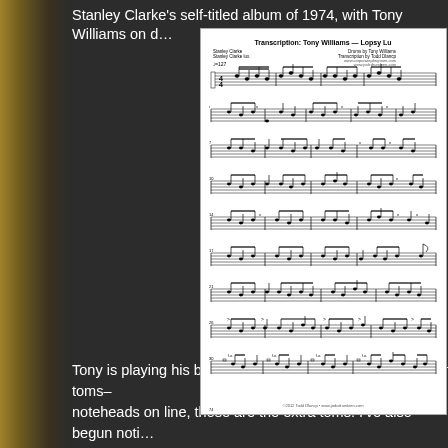Stanley Clarke's self-titled album of 1974, with Tony Williams on d…
[Figure (other): Drum transcription sheet music: Transcription: Tony Williams — Lopsy Lu. Drums by Tony Williams. Transcription by Todd Dlalog. Stanley Clarke / Stanley Clarke lux. Multiple rows of drum notation with bar lines, note heads, stems, and percussion symbols across approximately 9 staves.]
Tony is playing his big drumset here, with I believe four tom toms– noteheads on line, those are the extra toms. I've also begun noti…